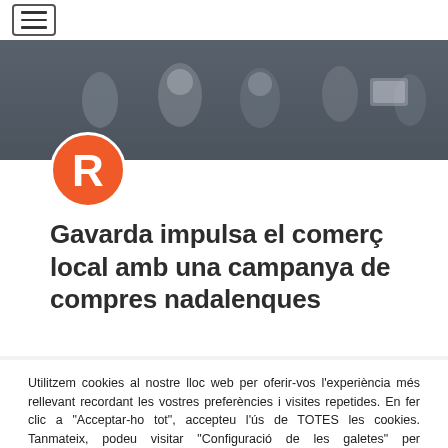[Figure (photo): Hero image banner showing people in a group, smiling and holding devices; dark photo background]
[Figure (logo): Orange circular logo with white letter R]
Gavarda impulsa el comerç local amb una campanya de compres nadalenques
Utilitzem cookies al nostre lloc web per oferir-vos l'experiència més rellevant recordant les vostres preferències i visites repetides. En fer clic a "Acceptar-ho tot", accepteu l'ús de TOTES les cookies. Tanmateix, podeu visitar "Configuració de les galetes" per proporcionar un consentiment controlat.
Configuració cookies
Accepta tot